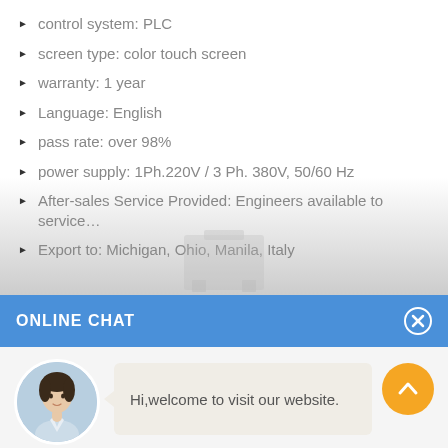control system: PLC
screen type: color touch screen
warranty: 1 year
Language: English
pass rate: over 98%
power supply: 1Ph.220V / 3 Ph. 380V, 50/60 Hz
After-sales Service Provided: Engineers available to service…
Export to: Michigan, Ohio, Manila, Italy
[Figure (screenshot): Online chat widget with blue header bar labeled ONLINE CHAT, a circular avatar of a woman named Cilina, a chat bubble saying Hi,welcome to visit our website., and an orange scroll-up button.]
ONLINE CHAT
Hi,welcome to visit our website.
Cilina